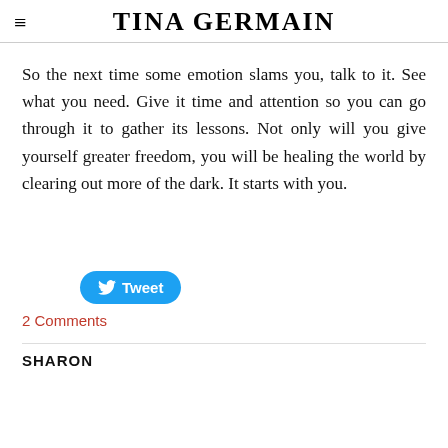TINA GERMAIN
So the next time some emotion slams you, talk to it. See what you need. Give it time and attention so you can go through it to gather its lessons. Not only will you give yourself greater freedom, you will be healing the world by clearing out more of the dark. It starts with you.
[Figure (other): Twitter Tweet button]
2 Comments
SHARON